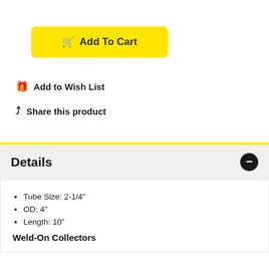Add To Cart
Add to Wish List
Share this product
Details
Tube Size: 2-1/4"
OD: 4"
Length: 10"
Weld-On Collectors